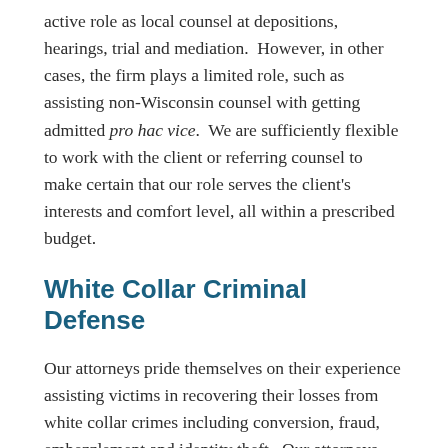active role as local counsel at depositions, hearings, trial and mediation.  However, in other cases, the firm plays a limited role, such as assisting non-Wisconsin counsel with getting admitted pro hac vice.  We are sufficiently flexible to work with the client or referring counsel to make certain that our role serves the client's interests and comfort level, all within a prescribed budget.
White Collar Criminal Defense
Our attorneys pride themselves on their experience assisting victims in recovering their losses from white collar crimes including conversion, fraud, embezzlement and identity theft.  Our attorneys work closely with white collar crime victims to determine the most efficient method for recovery of losses – including not only civil litigation, but also collaboration with law enforcement authorities.